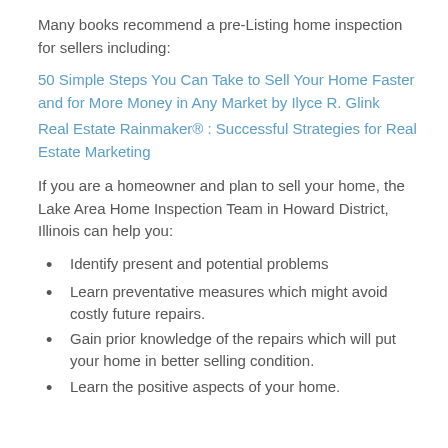Many books recommend a pre-Listing home inspection for sellers including:
50 Simple Steps You Can Take to Sell Your Home Faster and for More Money in Any Market by Ilyce R. Glink
Real Estate Rainmaker® : Successful Strategies for Real Estate Marketing
If you are a homeowner and plan to sell your home, the Lake Area Home Inspection Team in Howard District, Illinois can help you:
Identify present and potential problems
Learn preventative measures which might avoid costly future repairs.
Gain prior knowledge of the repairs which will put your home in better selling condition.
Learn the positive aspects of your home.